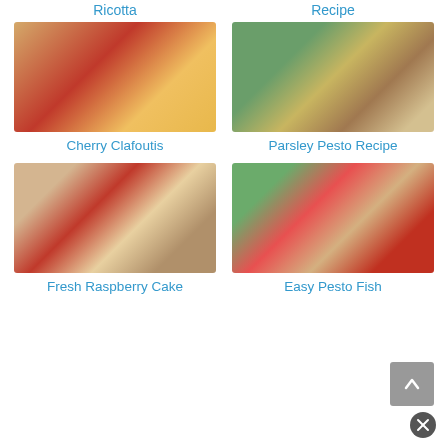Ricotta
Recipe
[Figure (photo): Cherry Clafoutis dessert in a white oval baking dish surrounded by fresh cherries]
Cherry Clafoutis
[Figure (photo): Parsley pesto ingredients overhead shot: herbs, nuts, cheese, garlic, oil on wooden board]
Parsley Pesto Recipe
[Figure (photo): Fresh raspberry cake bars on a dark tray with scattered raspberries]
Fresh Raspberry Cake
[Figure (photo): Baked salmon fillet with pesto, asparagus, and cherry tomatoes on a white plate]
Easy Pesto Fish